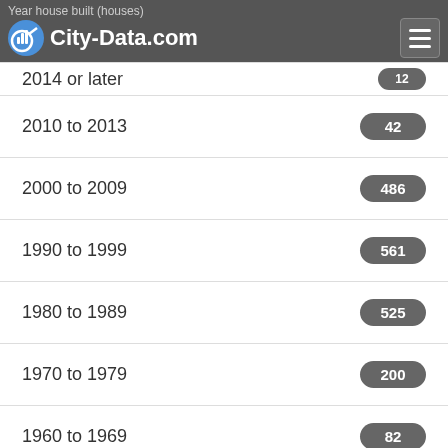Year house built (houses) / City-Data.com
2014 or later
2010 to 2013 — 42
2000 to 2009 — 486
1990 to 1999 — 561
1980 to 1989 — 525
1970 to 1979 — 200
1960 to 1969 — 82
1950 to 1959 — 20
1940 to 1949
1939 or earlier — 0